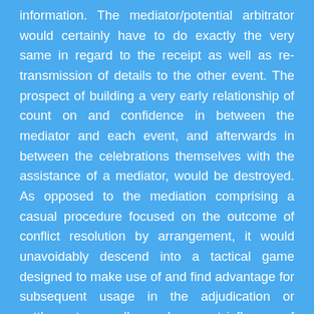information. The mediator/potential arbitrator would certainly have to do exactly the very same in regard to the receipt as well as re-transmission of details to the other event. The prospect of building a very early relationship of count on and confidence in between the mediator and each event, and afterwards in between the celebrations themselves with the assistance of a mediator, would be destroyed. As opposed to the mediation comprising a casual procedure focused on the outcome of conflict resolution by arrangement, it would unavoidably descend into a tactical game designed to make use of and find advantage for subsequent usage in the adjudication or settlement, as well as subsequent influence of the adjudicator's independent judgment. Besides